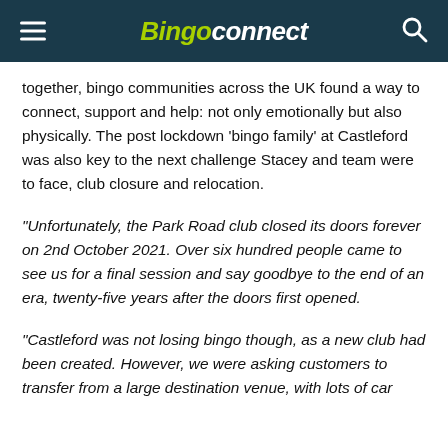Bingoconnect
together, bingo communities across the UK found a way to connect, support and help: not only emotionally but also physically. The post lockdown 'bingo family' at Castleford was also key to the next challenge Stacey and team were to face, club closure and relocation.
“Unfortunately, the Park Road club closed its doors forever on 2nd October 2021. Over six hundred people came to see us for a final session and say goodbye to the end of an era, twenty-five years after the doors first opened.
“Castleford was not losing bingo though, as a new club had been created. However, we were asking customers to transfer from a large destination venue, with lots of car